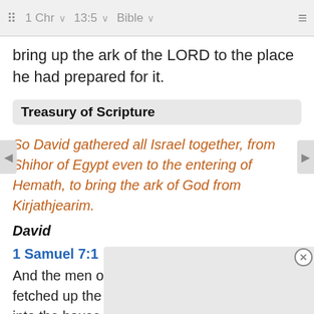⠿  1 Chr  ∨  13:5  ∨  Bible  ∨  ≡
bring up the ark of the LORD to the place he had prepared for it.
Treasury of Scripture
So David gathered all Israel together, from Shihor of Egypt even to the entering of Hemath, to bring the ark of God from Kirjathjearim.
David
1 Samuel 7:1
And the men of Kirjathjearim came, and fetched up the ark of the LORD, and brought it into the house of Abinadab in the hill, and sanctified Eleazar his son to keep the ark of the LORD.
2 Sam